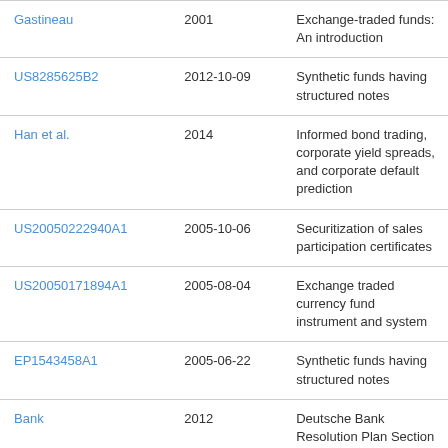| Gastineau | 2001 | Exchange-traded funds: An introduction |
| US8285625B2 | 2012-10-09 | Synthetic funds having structured notes |
| Han et al. | 2014 | Informed bond trading, corporate yield spreads, and corporate default prediction |
| US20050222940A1 | 2005-10-06 | Securitization of sales participation certificates |
| US20050171894A1 | 2005-08-04 | Exchange traded currency fund instrument and system |
| EP1543458A1 | 2005-06-22 | Synthetic funds having structured notes |
| Bank | 2012 | Deutsche Bank Resolution Plan Section 1: Public Section |